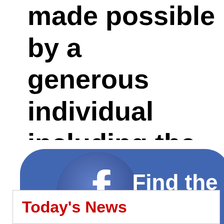made possible by a generous individual including the Wolfso
[Figure (infographic): Facebook 'Like' button banner with Facebook logo circle on left and text 'Find the ... Like a ...' on blue rounded rectangle background]
Today's News